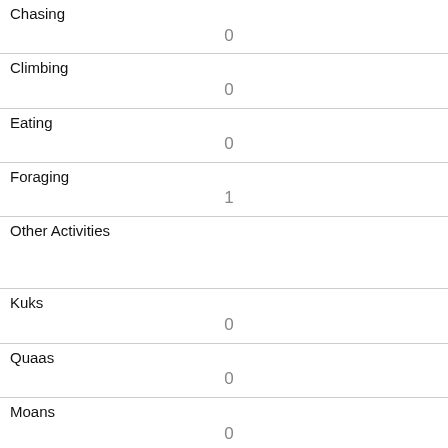| Chasing | 0 |
| Climbing | 0 |
| Eating | 0 |
| Foraging | 1 |
| Other Activities |  |
| Kuks | 0 |
| Quaas | 0 |
| Moans | 0 |
| Tail flags | 0 |
| Tail twitches | 0 |
| Approaches |  |